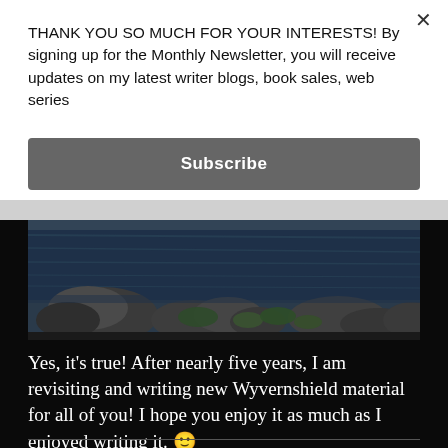THANK YOU SO MUCH FOR YOUR INTERESTS! By signing up for the Monthly Newsletter, you will receive updates on my latest writer blogs, book sales, web series
Subscribe
[Figure (photo): Photograph of rocky shoreline with dark blue water and stones covered in moss or algae]
Yes, it’s true! After nearly five years, I am revisiting and writing new Wyvernshield material for all of you! I hope you enjoy it as much as I enjoyed writing it. 🙂